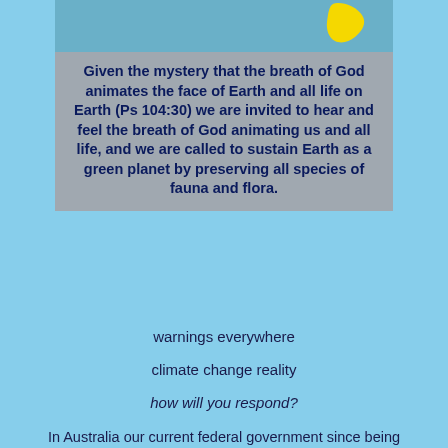[Figure (illustration): A framed image with a gray background containing bold dark navy text about the breath of God animating Earth and all life, with a small yellow shape (Tasmania/map outline) visible in the upper right corner on a blue background.]
warnings everywhere
climate change reality
how will you respond?
In Australia our current federal government since being